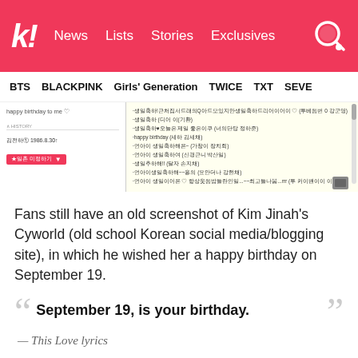k! News Lists Stories Exclusives
BTS BLACKPINK Girls' Generation TWICE TXT SEVE
[Figure (screenshot): Screenshot of Kim Jinah's Cyworld page showing Korean text birthday messages on a pale yellow background]
Fans still have an old screenshot of Kim Jinah's Cyworld (old school Korean social media/blogging site), in which he wished her a happy birthday on September 19.
“ September 19, is your birthday. ”
— This Love lyrics